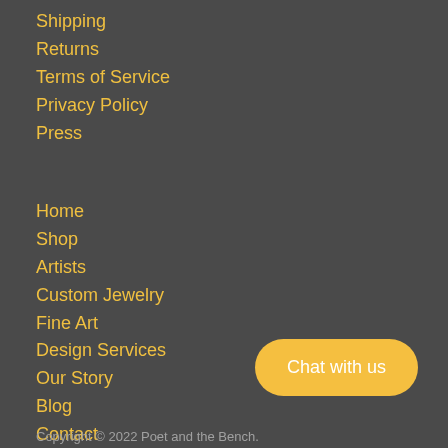Shipping
Returns
Terms of Service
Privacy Policy
Press
Home
Shop
Artists
Custom Jewelry
Fine Art
Design Services
Our Story
Blog
Contact
Chat with us
Copyright © 2022 Poet and the Bench.